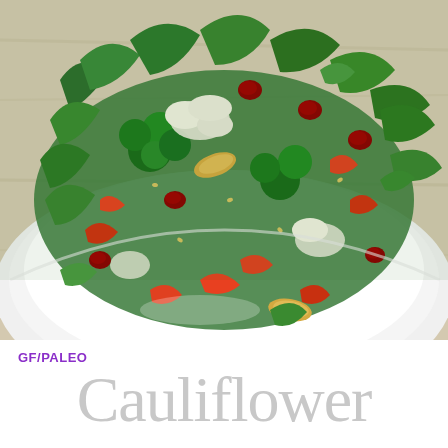[Figure (photo): Close-up overhead photo of a colorful salad on a white plate. The salad contains green kale, broccoli florets, cauliflower pieces, orange/red bell pepper strips, dried cranberries, and whole almonds, arranged on a white round plate on a light wooden surface.]
GF/PALEO
Cauliflower